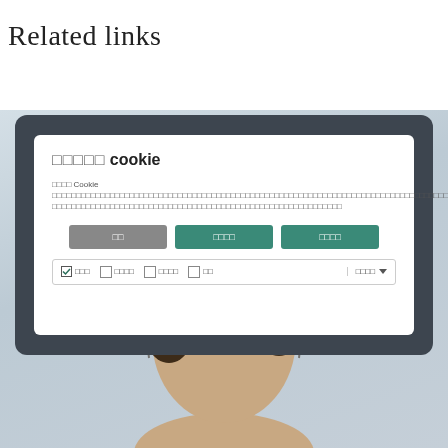Related links
[Figure (screenshot): A screenshot of a cookie consent dialog on a tablet device, showing Thai-language text with cookie settings options including checkboxes and teal/gray buttons.]
[Figure (photo): Lower portion of a person's head showing brown hair, with a blurred background.]